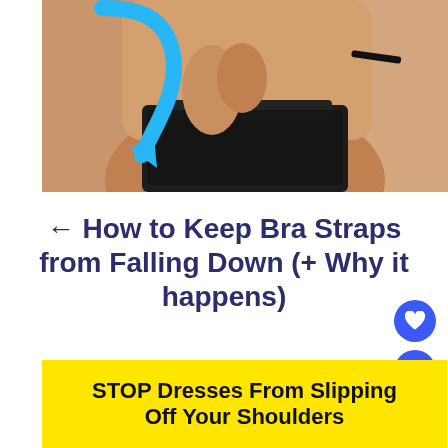[Figure (photo): Photo of a woman adjusting a black lace bra strap, with a blue curved arrow overlay pointing down]
← How to Keep Bra Straps from Falling Down (+ Why it happens)
[Figure (infographic): Yellow banner with bold black text reading: STOP Dresses From Slipping Off Your Shoulders]